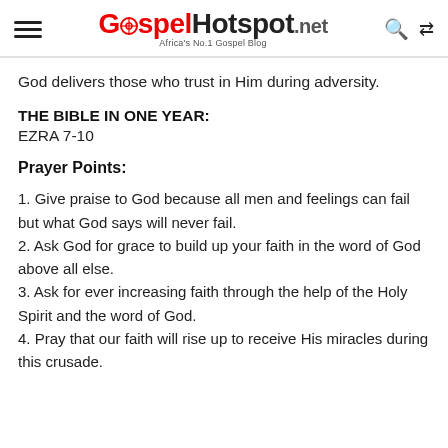GospelHotspot.net — Africa's No.1 Gospel Blog
God delivers those who trust in Him during adversity.
THE BIBLE IN ONE YEAR:
EZRA 7-10
Prayer Points:
1. Give praise to God because all men and feelings can fail but what God says will never fail.
2. Ask God for grace to build up your faith in the word of God above all else.
3. Ask for ever increasing faith through the help of the Holy Spirit and the word of God.
4. Pray that our faith will rise up to receive His miracles during this crusade.